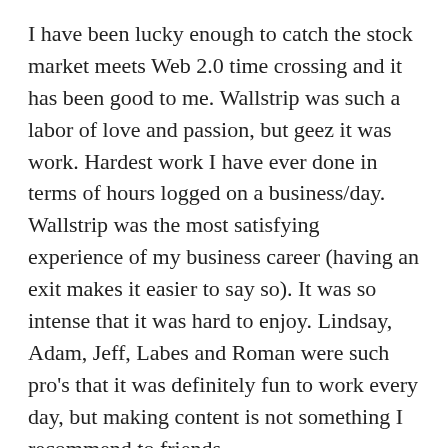I have been lucky enough to catch the stock market meets Web 2.0 time crossing and it has been good to me. Wallstrip was such a labor of love and passion, but geez it was work. Hardest work I have ever done in terms of hours logged on a business/day. Wallstrip was the most satisfying experience of my business career (having an exit makes it easier to say so). It was so intense that it was hard to enjoy. Lindsay, Adam, Jeff, Labes and Roman were such pro's that it was definitely fun to work every day, but making content is not something I recommend to friends.